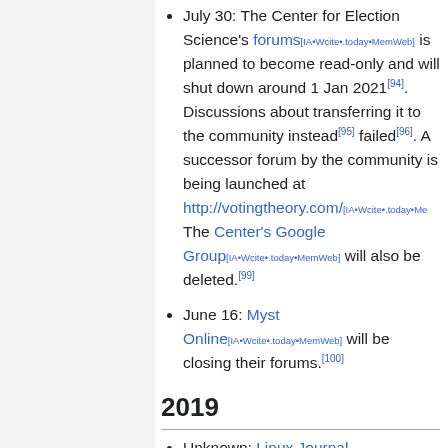July 30: The Center for Election Science's forums[IA•Wcite•.today•MemWeb] is planned to become read-only and will shut down around 1 Jan 2021[94]. Discussions about transferring it to the community instead[95] failed[96]. A successor forum by the community is being launched at http://votingtheory.com/[IA•Wcite•.today•Me… The Center's Google Group[IA•Wcite•.today•MemWeb] will also be deleted.[99]
June 16: Myst Online[IA•Wcite•.today•MemWeb] will be closing their forums.[100]
2019
Unknown: Linux Journal